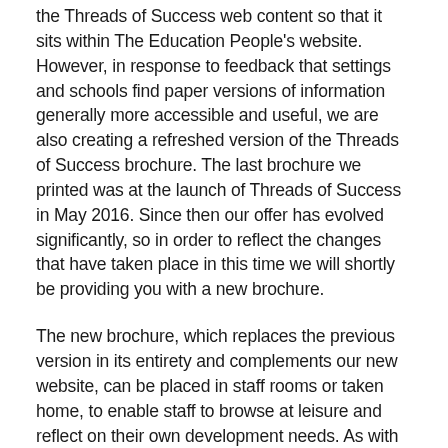You may be aware that we will shortly be using the Threads of Success web content so that it sits within The Education People's website. However, in response to feedback that settings and schools find paper versions of information generally more accessible and useful, we are also creating a refreshed version of the Threads of Success brochure. The last brochure we printed was at the launch of Threads of Success in May 2016. Since then our offer has evolved significantly, so in order to reflect the changes that have taken place in this time we will shortly be providing you with a new brochure.
The new brochure, which replaces the previous version in its entirety and complements our new website, can be placed in staff rooms or taken home, to enable staff to browse at leisure and reflect on their own development needs. As with any printed information, the brochure will be up to date at the time of going to print; however to ensure you have